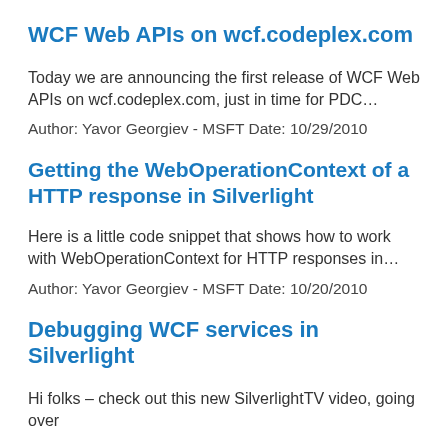WCF Web APIs on wcf.codeplex.com
Today we are announcing the first release of WCF Web APIs on wcf.codeplex.com, just in time for PDC…
Author: Yavor Georgiev - MSFT Date: 10/29/2010
Getting the WebOperationContext of a HTTP response in Silverlight
Here is a little code snippet that shows how to work with WebOperationContext for HTTP responses in…
Author: Yavor Georgiev - MSFT Date: 10/20/2010
Debugging WCF services in Silverlight
Hi folks – check out this new SilverlightTV video, going over